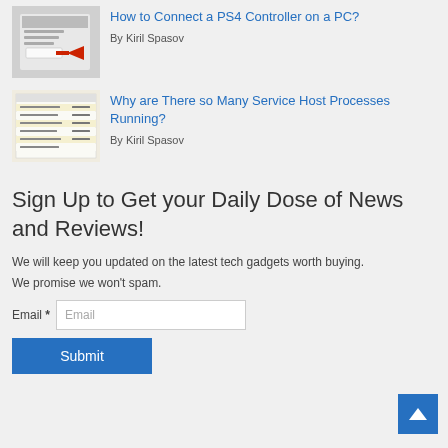[Figure (screenshot): Thumbnail image of a PC Bluetooth settings screen with a red arrow pointing to an option]
How to Connect a PS4 Controller on a PC?
By Kiril Spasov
[Figure (screenshot): Thumbnail image of Task Manager showing many Service Host processes in a list with yellow highlighted rows]
Why are There so Many Service Host Processes Running?
By Kiril Spasov
Sign Up to Get your Daily Dose of News and Reviews!
We will keep you updated on the latest tech gadgets worth buying. We promise we won't spam.
Email *
Submit